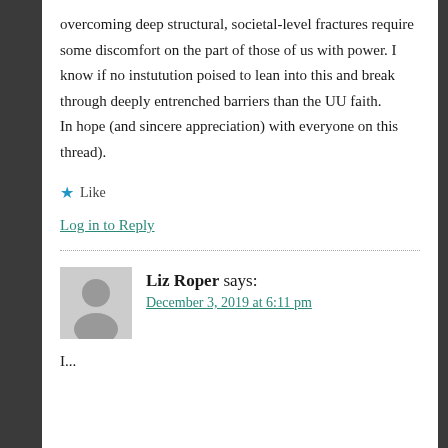overcoming deep structural, societal-level fractures require some discomfort on the part of those of us with power. I know if no instutution poised to lean into this and break through deeply entrenched barriers than the UU faith.
In hope (and sincere appreciation) with everyone on this thread).
★ Like
Log in to Reply
Liz Roper says: December 3, 2019 at 6:11 pm
I...